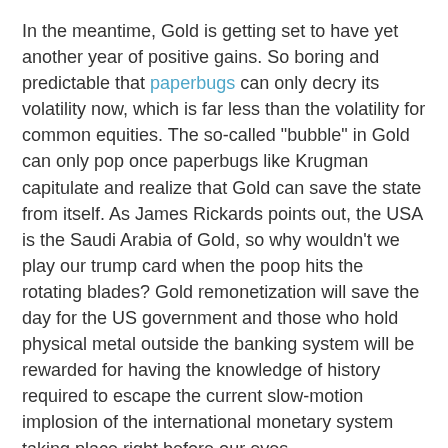In the meantime, Gold is getting set to have yet another year of positive gains. So boring and predictable that paperbugs can only decry its volatility now, which is far less than the volatility for common equities. The so-called "bubble" in Gold can only pop once paperbugs like Krugman capitulate and realize that Gold can save the state from itself. As James Rickards points out, the USA is the Saudi Arabia of Gold, so why wouldn't we play our trump card when the poop hits the rotating blades? Gold remonetization will save the day for the US government and those who hold physical metal outside the banking system will be rewarded for having the knowledge of history required to escape the current slow-motion implosion of the international monetary system taking place right before our eyes.
If you are crazy enough to try and trade in this environment, consider subscribing to my trading service. Otherwise, buy physical Gold, store it outside the banking system and enjoy the fireworks.